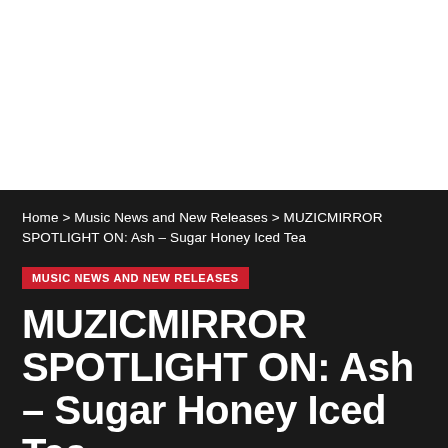[Figure (other): White blank area at top of page]
Home > Music News and New Releases > MUZICMIRROR SPOTLIGHT ON: Ash – Sugar Honey Iced Tea
MUSIC NEWS AND NEW RELEASES
MUZICMIRROR SPOTLIGHT ON: Ash – Sugar Honey Iced Tea